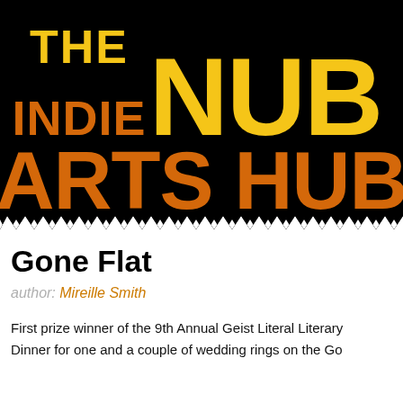[Figure (logo): The Indie Nub Arts Hub logo — black background with zigzag bottom edge, 'THE' and 'NUB' in yellow bold text, 'INDIE' and 'ARTS HUB' in orange bold text]
Gone Flat
author: Mireille Smith
First prize winner of the 9th Annual Geist Literal Literary
Dinner for one and a couple of wedding rings on the Go